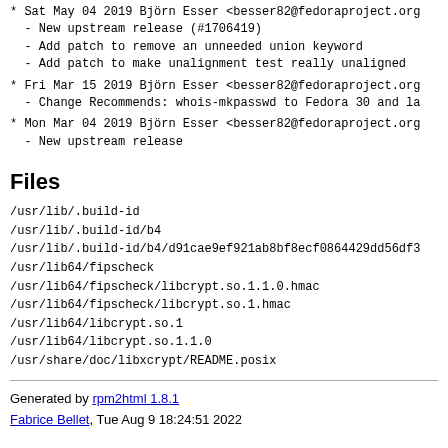* Sat May 04 2019 Björn Esser <besser82@fedoraproject.org
  - New upstream release (#1706419)
  - Add patch to remove an unneeded union keyword
  - Add patch to make unalignment test really unaligned
* Fri Mar 15 2019 Björn Esser <besser82@fedoraproject.org
  - Change Recommends: whois-mkpasswd to Fedora 30 and la
* Mon Mar 04 2019 Björn Esser <besser82@fedoraproject.org
  - New upstream release
Files
/usr/lib/.build-id
/usr/lib/.build-id/b4
/usr/lib/.build-id/b4/d91cae9ef921ab8bf8ecf0864429dd56df3
/usr/lib64/fipscheck
/usr/lib64/fipscheck/libcrypt.so.1.1.0.hmac
/usr/lib64/fipscheck/libcrypt.so.1.hmac
/usr/lib64/libcrypt.so.1
/usr/lib64/libcrypt.so.1.1.0
/usr/share/doc/libxcrypt/README.posix
Generated by rpm2html 1.8.1
Fabrice Bellet, Tue Aug 9 18:24:51 2022